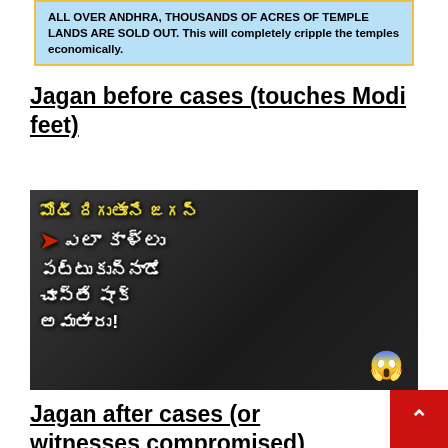[Figure (infographic): Yellow-bordered light blue banner with bold text: ALL OVER ANDHRA, THOUSANDS OF ACRES OF TEMPLE LANDS ARE SOLD OUT. This will completely cripple the temples economically.]
Jagan before cases (touches Modi feet)
[Figure (photo): Political thumbnail image showing two men, with Telugu text overlay in yellow and white reading translated as: How did Jagan touch Modi's feet coming down - shocking to see! with a scared emoji. Red arrow pointing at one figure.]
Jagan after cases (or witnesses compromised)